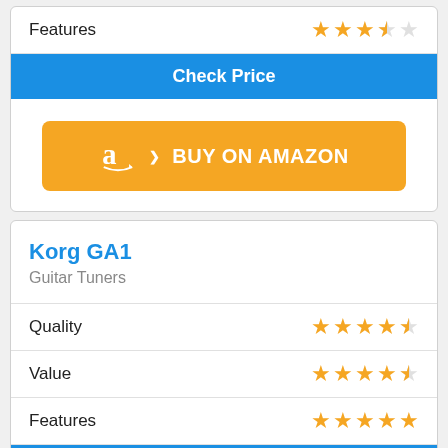Features
[Figure (other): Star rating: 3.5 out of 5 stars (orange stars)]
Check Price
[Figure (other): Buy on Amazon orange button with Amazon logo]
Korg GA1
Guitar Tuners
Quality
[Figure (other): Star rating: 4.5 out of 5 stars]
Value
[Figure (other): Star rating: 4.5 out of 5 stars]
Features
[Figure (other): Star rating: 5 out of 5 stars]
Check Price